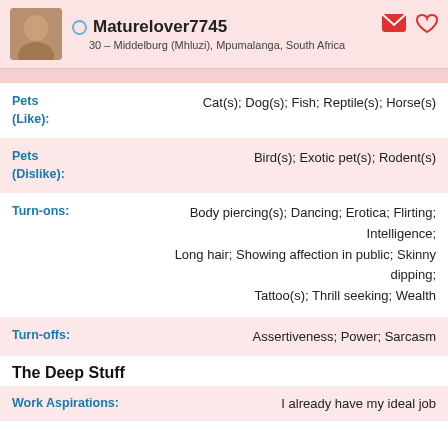Maturelover7745 – 30 – Middelburg (Mhluzi), Mpumalanga, South Africa
Pets (Like): Cat(s); Dog(s); Fish; Reptile(s); Horse(s)
Pets (Dislike): Bird(s); Exotic pet(s); Rodent(s)
Turn-ons: Body piercing(s); Dancing; Erotica; Flirting; Intelligence; Long hair; Showing affection in public; Skinny dipping; Tattoo(s); Thrill seeking; Wealth
Turn-offs: Assertiveness; Power; Sarcasm
The Deep Stuff
Work Aspirations: I already have my ideal job